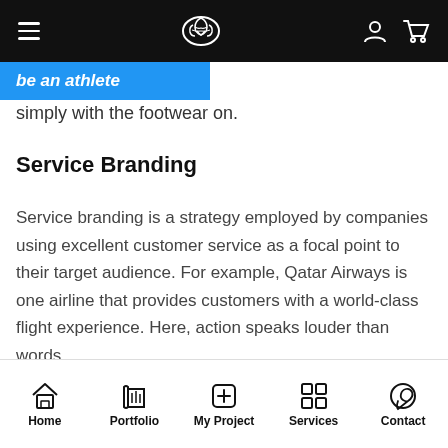Navigation bar with hamburger menu, brain logo, user and cart icons
be an athlete simply with the footwear on.
Service Branding
Service branding is a strategy employed by companies using excellent customer service as a focal point to their target audience. For example, Qatar Airways is one airline that provides customers with a world-class flight experience. Here, action speaks louder than words.
Home | Portfolio | My Project | Services | Contact